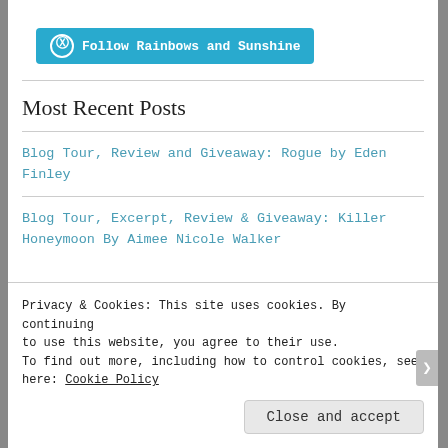[Figure (logo): WordPress Follow button with W logo: 'Follow Rainbows and Sunshine' in teal/cyan background]
Most Recent Posts
Blog Tour, Review and Giveaway: Rogue by Eden Finley
Blog Tour, Excerpt, Review & Giveaway: Killer Honeymoon By Aimee Nicole Walker
Privacy & Cookies: This site uses cookies. By continuing to use this website, you agree to their use.
To find out more, including how to control cookies, see here: Cookie Policy
Close and accept